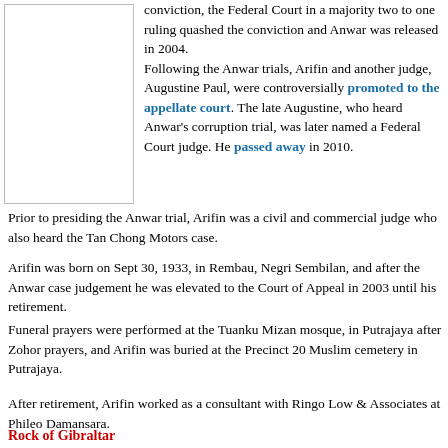conviction, the Federal Court in a majority two to one ruling quashed the conviction and Anwar was released in 2004.
Following the Anwar trials, Arifin and another judge, Augustine Paul, were controversially promoted to the appellate court. The late Augustine, who heard Anwar's corruption trial, was later named a Federal Court judge. He passed away in 2010.
Prior to presiding the Anwar trial, Arifin was a civil and commercial judge who also heard the Tan Chong Motors case.
Arifin was born on Sept 30, 1933, in Rembau, Negri Sembilan, and after the Anwar case judgement he was elevated to the Court of Appeal in 2003 until his retirement.
Funeral prayers were performed at the Tuanku Mizan mosque, in Putrajaya after Zohor prayers, and Arifin was buried at the Precinct 20 Muslim cemetery in Putrajaya.
After retirement, Arifin worked as a consultant with Ringo Low & Associates at Phileo Damansara.
Rock of Gibraltar
Arifin during the Anwar verdict had described the complainant Azizan Abu Bakar as "a rock of Gibraltar" in giving his testimony...